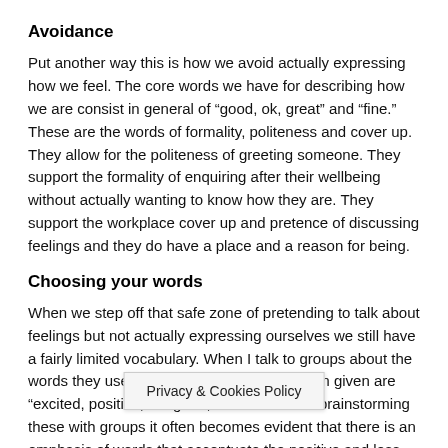Avoidance
Put another way this is how we avoid actually expressing how we feel. The core words we have for describing how we are consist in general of “good, ok, great” and “fine.” These are the words of formality, politeness and cover up. They allow for the politeness of greeting someone. They support the formality of enquiring after their wellbeing without actually wanting to know how they are. They support the workplace cover up and pretence of discussing feelings and they do have a place and a reason for being.
Choosing your words
When we step off that safe zone of pretending to talk about feelings but not actually expressing ourselves we still have a fairly limited vocabulary. When I talk to groups about the words they use the most common words I am given are “excited, positive, not good, brilliant.” When brainstorming these with groups it often becomes evident that there is an emphasis of words that accentuate the positive and less than